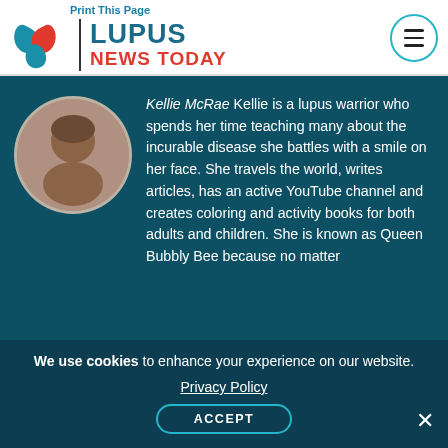Print This Page
[Figure (logo): Lupus News Today logo with teal and red leaf design, site name in teal and red text]
Kellie McRae Kellie is a lupus warrior who spends her time teaching many about the incurable disease she battles with a smile on her face. She travels the world, writes articles, has an active YouTube channel and creates coloring and activity books for both adults and children. She is known as Queen Bubbly Bee because no matter
We use cookies to enhance your experience on our website. Privacy Policy ACCEPT